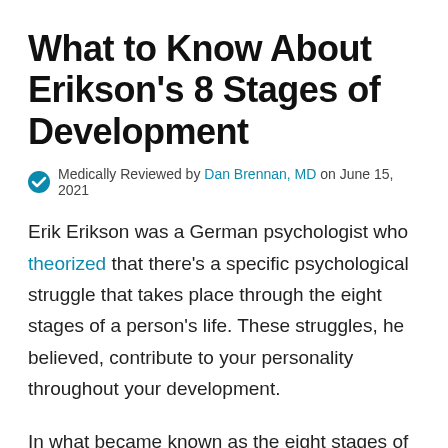What to Know About Erikson's 8 Stages of Development
Medically Reviewed by Dan Brennan, MD on June 15, 2021
Erik Erikson was a German psychologist who theorized that there's a specific psychological struggle that takes place through the eight stages of a person's life. These struggles, he believed, contribute to your personality throughout your development.
In what became known as the eight stages of development theory, Erikson provided insights into both social and